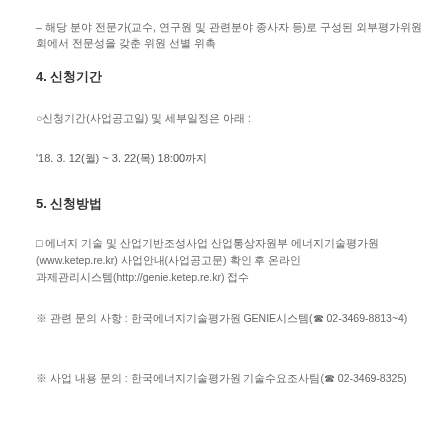– 해당 분야 전문가(교수, 연구원 및 관련분야 종사자 등)로 구성된 외부평가위원회에서 전문성을 갖춘 위원 선별 위촉
4. 신청기간
○신청기간(사업공고일) 및 세부일정은 아래 :
'18. 3. 12(월) ~ 3. 22(목) 18:00까지
5. 신청방법
□ 에너지 기술 및 산업기반조성사업 산업통상자원부 에너지기술평가원(www.ketep.re.kr) 사업안내(사업공고문) 확인 후 온라인 과제관리시스템(http://genie.ketep.re.kr) 접수
※ 관련 문의 사항 : 한국에너지기술평가원 GENIE시스템(☎ 02-3469-8813~4)
※ 사업 내용 문의 : 한국에너지기술평가원 기술수요조사팀(☎ 02-3469-8325)